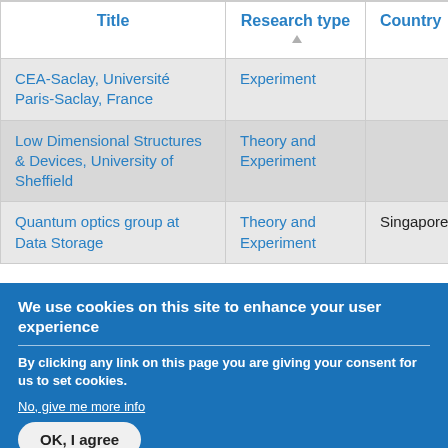| Title | Research type▲ | Country |
| --- | --- | --- |
| CEA-Saclay, Université Paris-Saclay, France | Experiment |  |
| Low Dimensional Structures & Devices, University of Sheffield | Theory and Experiment |  |
| Quantum optics group at Data Storage | Theory and Experiment | Singapore |
We use cookies on this site to enhance your user experience
By clicking any link on this page you are giving your consent for us to set cookies.
No, give me more info
OK, I agree